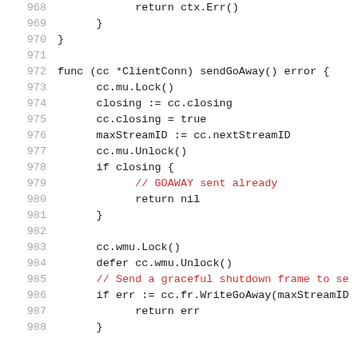968    return ctx.Err()
969    }
970 }
971
972 func (cc *ClientConn) sendGoAway() error {
973    cc.mu.Lock()
974    closing := cc.closing
975    cc.closing = true
976    maxStreamID := cc.nextStreamID
977    cc.mu.Unlock()
978    if closing {
979        // GOAWAY sent already
980        return nil
981    }
982
983    cc.wmu.Lock()
984    defer cc.wmu.Unlock()
985    // Send a graceful shutdown frame to se
986    if err := cc.fr.WriteGoAway(maxStreamID
987        return err
988    }